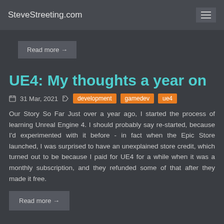SteveStreeting.com
Read more →
UE4: My thoughts a year on
31 Mar, 2021  development  gamedev  ue4
Our Story So Far Just over a year ago, I started the process of learning Unreal Engine 4. I should probably say re-started, because I'd experimented with it before - in fact when the Epic Store launched, I was surprised to have an unexplained store credit, which turned out to be because I paid for UE4 for a while when it was a monthly subscription, and they refunded some of that after they made it free.
Read more →
UE4 C++ Interfaces - Hints n